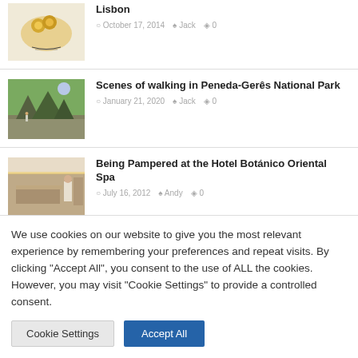[Figure (photo): Food plate with scallops and yellow sauce on white plate]
Lisbon
October 17, 2014  Jack  0
[Figure (photo): Rocky mountain landscape with hikers, Peneda-Gerês National Park]
Scenes of walking in Peneda-Gerês National Park
January 21, 2020  Jack  0
[Figure (photo): Hotel spa interior with reception desk and ambient lighting]
Being Pampered at the Hotel Botánico Oriental Spa
July 16, 2012  Andy  0
We use cookies on our website to give you the most relevant experience by remembering your preferences and repeat visits. By clicking "Accept All", you consent to the use of ALL the cookies. However, you may visit "Cookie Settings" to provide a controlled consent.